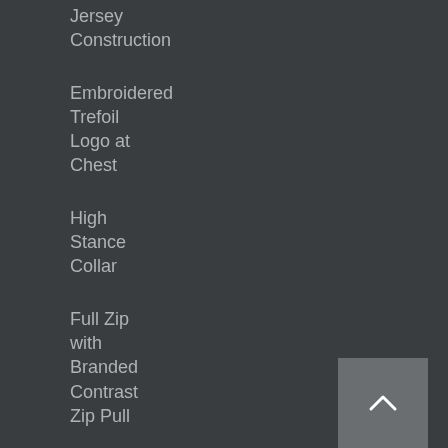Jersey Construction
Embroidered Trefoil Logo at Chest
High Stance Collar
Full Zip with Branded Contrast Zip Pull
Kangaroo Pockets
Adjustable Hood